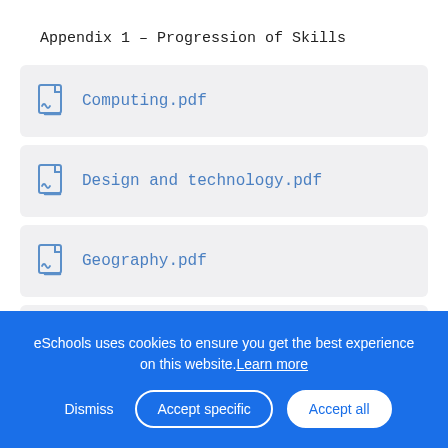Appendix 1 - Progression of Skills
Computing.pdf
Design and technology.pdf
Geography.pdf
History.pdf
Languages.pdf
eSchools uses cookies to ensure you get the best experience on this website. Learn more
Dismiss  Accept specific  Accept all